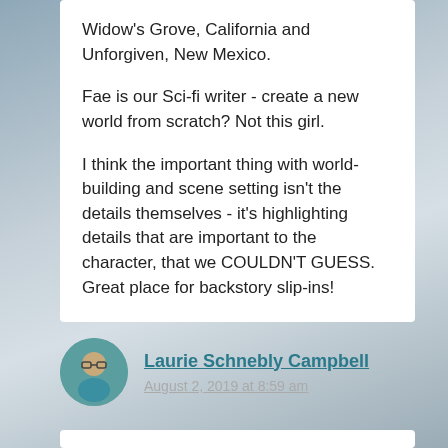Widow's Grove, California and Unforgiven, New Mexico.
Fae is our Sci-fi writer - create a new world from scratch? Not this girl.
I think the important thing with world-building and scene setting isn't the details themselves - it's highlighting details that are important to the character, that we COULDN'T GUESS. Great place for backstory slip-ins!
Laurie Schnebly Campbell
August 2, 2019 at 8:59 am